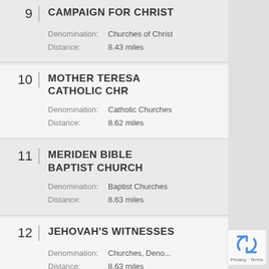9 | CAMPAIGN FOR CHRIST
Denomination: Churches of Christ
Distance: 8.43 miles
10 | MOTHER TERESA CATHOLIC CHR
Denomination: Catholic Churches
Distance: 8.62 miles
11 | MERIDEN BIBLE BAPTIST CHURCH
Denomination: Baptist Churches
Distance: 8.63 miles
12 | JEHOVAH'S WITNESSES
Denomination: Churches, Deno...
Distance: 8.63 miles
[Figure (logo): Google reCAPTCHA widget with recycling-arrow logo, Privacy and Terms text]